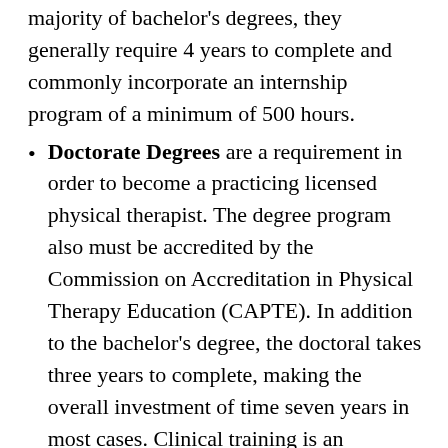majority of bachelor's degrees, they generally require 4 years to complete and commonly incorporate an internship program of a minimum of 500 hours.
Doctorate Degrees are a requirement in order to become a practicing licensed physical therapist. The degree program also must be accredited by the Commission on Accreditation in Physical Therapy Education (CAPTE). In addition to the bachelor's degree, the doctoral takes three years to complete, making the overall investment of time seven years in most cases. Clinical training is an important element in addition to the extensive lab and classroom instruction. Therefor the fulfillment of an internship is mandated, not solely for graduation but in a number of states for licensing also.
The Doctor of Physical Therapy (DPT) has replaced the Master's of Physical Therapy (MPT), which has been phased out and is no longer available in the USA. A number of